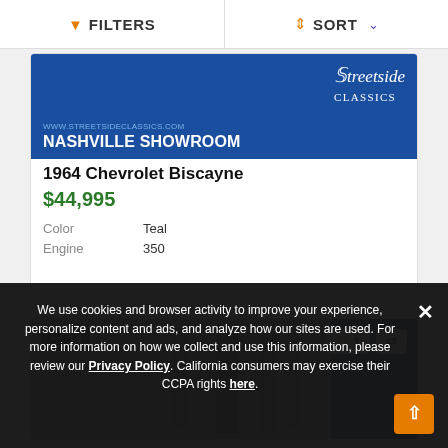FILTERS | SORT
[Figure (photo): Streetside Classics Nashville Showroom banner image with blue background]
1964 Chevrolet Biscayne
$44,995
Color Teal
Engine 350
[Figure (photo): Classic car photo with photo count badge showing 14, heart/compare action icons]
We use cookies and browser activity to improve your experience, personalize content and ads, and analyze how our sites are used. For more information on how we collect and use this information, please review our Privacy Policy. California consumers may exercise their CCPA rights here.